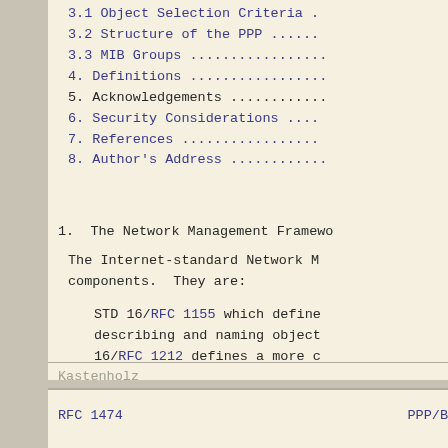3.1 Object Selection Criteria .
3.2 Structure of the PPP ......
3.3 MIB Groups ...............
4. Definitions ...............
5. Acknowledgements ...........
6. Security Considerations ....
7. References .................
8. Author's Address ...........
1.  The Network Management Framewo
The Internet-standard Network M
components.  They are:
STD 16/RFC 1155 which define
describing and naming object
16/RFC 1212 defines a more c
Kastenholz
RFC 1474                                        PPP/B